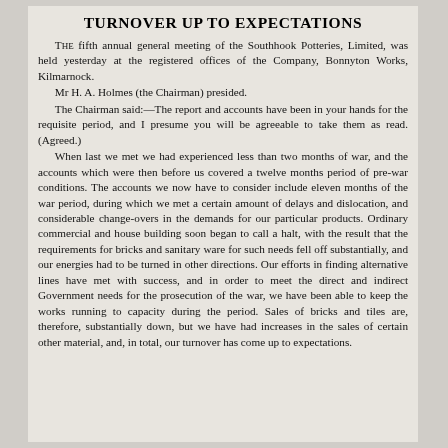TURNOVER UP TO EXPECTATIONS
The fifth annual general meeting of the Southhook Potteries, Limited, was held yesterday at the registered offices of the Company, Bonnyton Works, Kilmarnock.
  Mr H. A. Holmes (the Chairman) presided.
  The Chairman said:—The report and accounts have been in your hands for the requisite period, and I presume you will be agreeable to take them as read. (Agreed.)
  When last we met we had experienced less than two months of war, and the accounts which were then before us covered a twelve months period of pre-war conditions. The accounts we now have to consider include eleven months of the war period, during which we met a certain amount of delays and dislocation, and considerable change-overs in the demands for our particular products. Ordinary commercial and house building soon began to call a halt, with the result that the requirements for bricks and sanitary ware for such needs fell off substantially, and our energies had to be turned in other directions. Our efforts in finding alternative lines have met with success, and in order to meet the direct and indirect Government needs for the prosecution of the war, we have been able to keep the works running to capacity during the period. Sales of bricks and tiles are, therefore, substantially down, but we have had increases in the sales of certain other material, and, in total, our turnover has come up to expectations.